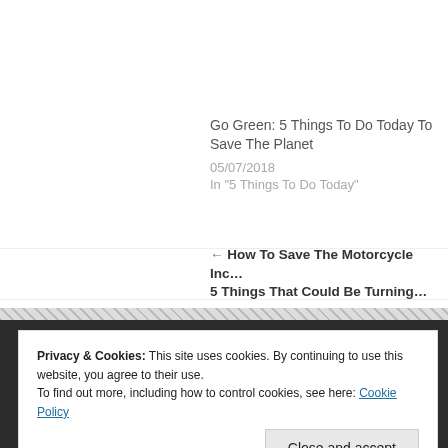[Figure (photo): Black and white photo of people walking on a zebra crossing, legs visible from mid-body down]
Go Green: 5 Things To Do Today To Save The Planet
05/07/2018
In "5 Things To Do Today"
← How To Save The Motorcycle Inc… 5 Things That Could Be Turning…
Privacy & Cookies: This site uses cookies. By continuing to use this website, you agree to their use. To find out more, including how to control cookies, see here: Cookie Policy
Close and accept